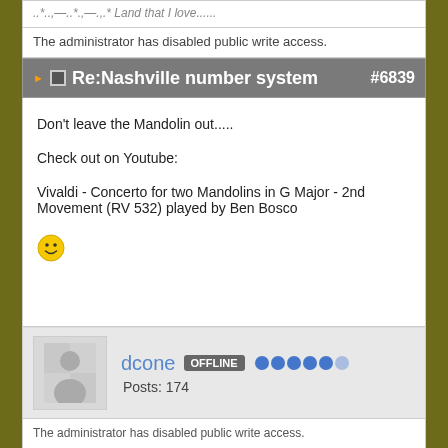..*..,—..*.,—.,.* Land that I love......
The administrator has disabled public write access.
Re:Nashville number system #6839
Don't leave the Mandolin out.....
Check out on Youtube:
Vivaldi - Concerto for two Mandolins in G Major - 2nd Movement (RV 532) played by Ben Bosco
[Figure (illustration): Yellow smiley face emoji]
dcone  OFFLINE  Posts: 174
The administrator has disabled public write access.